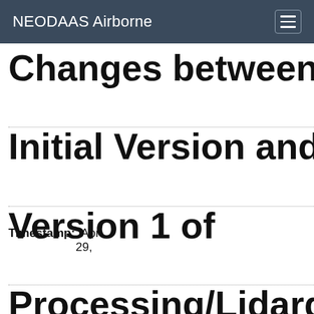NEODAAS Airborne
Changes between Initial Version and Version 1 of Processing/Lidarqcproce
Timestamp: Apr 29,
[Figure (screenshot): A 'View differences' dialog box with options: inline dropdown, Show 2 lines around each change (radio, selected), Show the changes in full context (radio), Ignore: Blank lines (checkbox), Case changes (checkbox), White space changes (checkbox), and an Update button.]